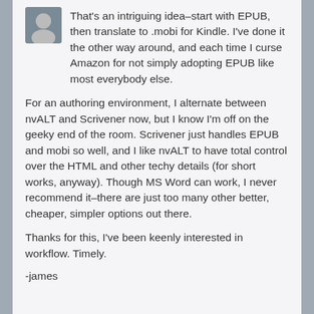That's an intriguing idea–start with EPUB, then translate to .mobi for Kindle. I've done it the other way around, and each time I curse Amazon for not simply adopting EPUB like most everybody else.
For an authoring environment, I alternate between nvALT and Scrivener now, but I know I'm off on the geeky end of the room. Scrivener just handles EPUB and mobi so well, and I like nvALT to have total control over the HTML and other techy details (for short works, anyway). Though MS Word can work, I never recommend it–there are just too many other better, cheaper, simpler options out there.
Thanks for this, I've been keenly interested in workflow. Timely.
-james